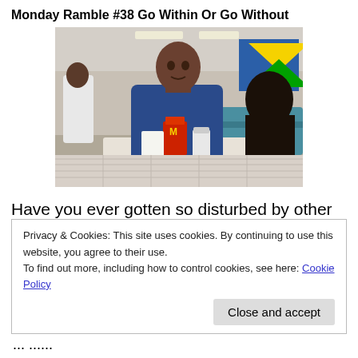Monday Ramble #38 Go Within Or Go Without
[Figure (photo): A man sitting at a fast-food restaurant table (McDonald's) with food and drinks in front of him, wearing a blue shirt. Other people visible in the background of the restaurant.]
Have you ever gotten so disturbed by other people so much that it made you look at yourself and analyze your
Privacy & Cookies: This site uses cookies. By continuing to use this website, you agree to their use.
To find out more, including how to control cookies, see here: Cookie Policy
Close and accept
... ...